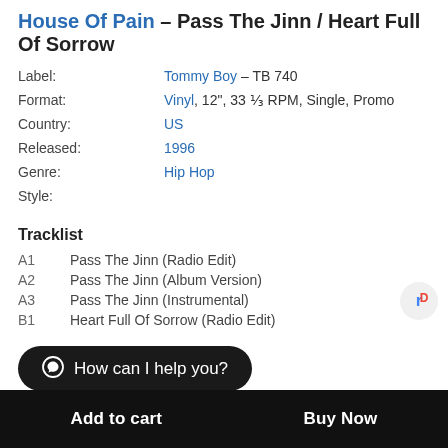House Of Pain – Pass The Jinn / Heart Full Of Sorrow
| Label: | Tommy Boy – TB 740 |
| Format: | Vinyl, 12", 33 ⅓ RPM, Single, Promo |
| Country: | US |
| Released: | 1996 |
| Genre: | Hip Hop |
| Style: |  |
Tracklist
A1    Pass The Jinn (Radio Edit)
A2    Pass The Jinn (Album Version)
A3    Pass The Jinn (Instrumental)
B1    Heart Full Of Sorrow (Radio Edit)
How can I help you?
Add to cart    Buy Now